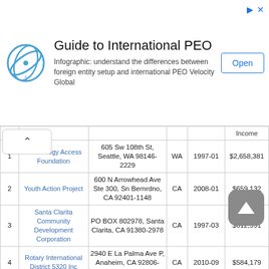[Figure (infographic): Advertisement banner for Guide to International PEO with logo, description text, and Open button]
| # | Name | Address | State | Date | Income |
| --- | --- | --- | --- | --- | --- |
| 1 | Technology Access Foundation | 605 Sw 108th St, Seattle, WA 98146-2229 | WA | 1997-01 | $2,658,381 |
| 2 | Youth Action Project | 600 N Arrowhead Ave Ste 300, Sn Bernrdno, CA 92401-1148 | CA | 2008-01 | $659,132 |
| 3 | Santa Clarita Community Development Corporation | PO BOX 802978, Santa Clarita, CA 91380-2978 | CA | 1997-03 | $612,991 |
| 4 | Rotary International District 5320 Inc | 2940 E La Palma Ave P, Anaheim, CA 92806-2619 | CA | 2010-09 | $584,179 |
| 5 | San Francisco Deputy Sheriffs Association Foundation Inc | 444 6th Street, San Francisco, CA 94103 | CA | 2005-03 | $[partially hidden] |
| 6 | Rotary International | 400 N Mountain Ave |  |  |  |